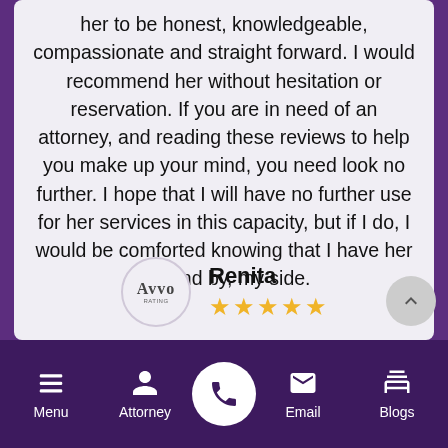her to be honest, knowledgeable, compassionate and straight forward. I would recommend her without hesitation or reservation. If you are in need of an attorney, and reading these reviews to help you make up your mind, you need look no further. I hope that I will have no further use for her services in this capacity, but if I do, I would be comforted knowing that I have her on, and by, my side.
Renita ★★★★★